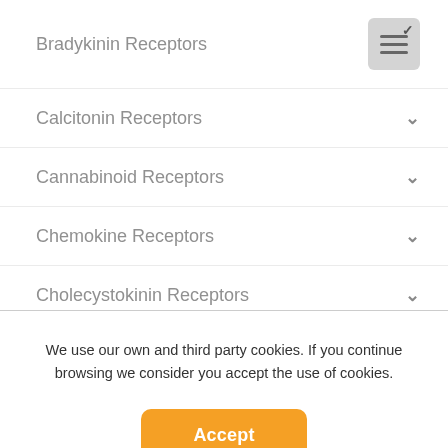Bradykinin Receptors
Calcitonin Receptors
Cannabinoid Receptors
Chemokine Receptors
Cholecystokinin Receptors
CRF Receptors
We use our own and third party cookies. If you continue browsing we consider you accept the use of cookies.
Accept